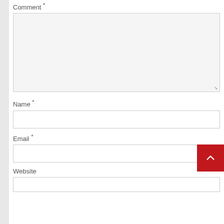Comment *
[Figure (screenshot): A large empty textarea for comment input with a light gray background and resize handle in the bottom-right corner]
Name *
[Figure (screenshot): A text input field for name, white background with border]
Email *
[Figure (screenshot): A text input field for email, white background with border, with a red scroll-to-top button overlapping the bottom-right corner]
Website
[Figure (screenshot): A text input field for website, partially visible at the bottom]